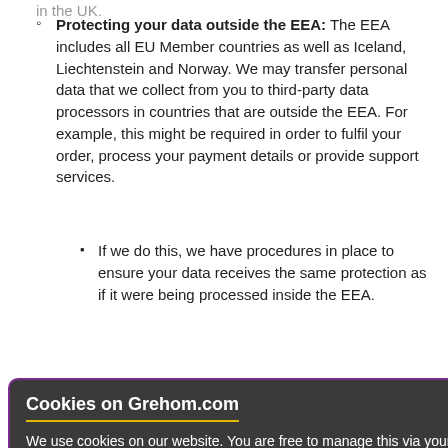Protecting your data outside the EEA: The EEA includes all EU Member countries as well as Iceland, Liechtenstein and Norway. We may transfer personal data that we collect from you to third-party data processors in countries that are outside the EEA. For example, this might be required in order to fulfil your order, process your payment details or provide support services.
If we do this, we have procedures in place to ensure your data receives the same protection as if it were being processed inside the EEA.
...with third parties must follow at all information about act our Data
...will follow e information under y Notice.
Cookies on Grehom.com (cookie banner overlay)
We use cookies on our website. You are free to manage this via your browser setting at any time. To learn more about how we use the cookies, please see our Cookie Policy.
11. What are your rights over your personal data?